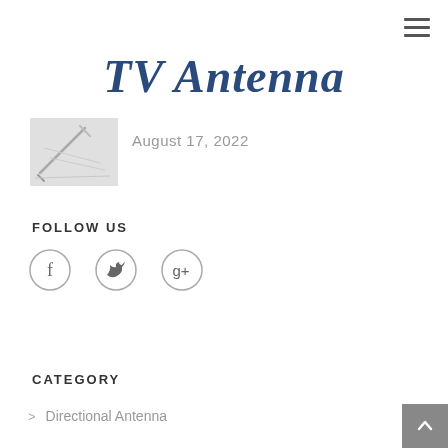☰
TV Antenna
[Figure (photo): Small thumbnail image of a pen or stylus on paper]
August 17, 2022
FOLLOW US
[Figure (infographic): Three social media icons in circles: Facebook (f), Twitter (bird), Google+ (g+)]
CATEGORY
Directional Antenna